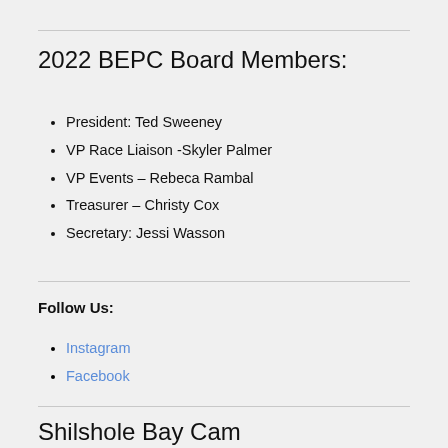2022 BEPC Board Members:
President: Ted Sweeney
VP Race Liaison -Skyler Palmer
VP Events – Rebeca Rambal
Treasurer – Christy Cox
Secretary: Jessi Wasson
Follow Us:
Instagram
Facebook
Shilshole Bay Cam